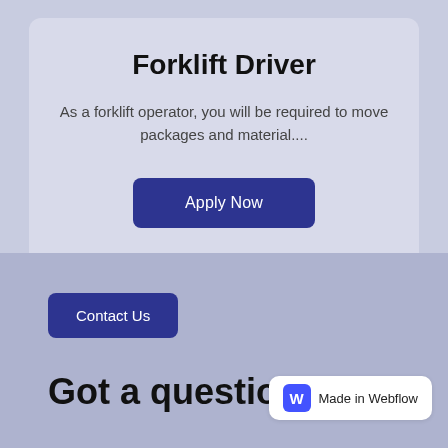Forklift Driver
As a forklift operator, you will be required to move packages and material....
Apply Now
Contact Us
Got a question?
We're here to help. Send us an email or call us at
[Figure (logo): Made in Webflow badge with blue W icon]